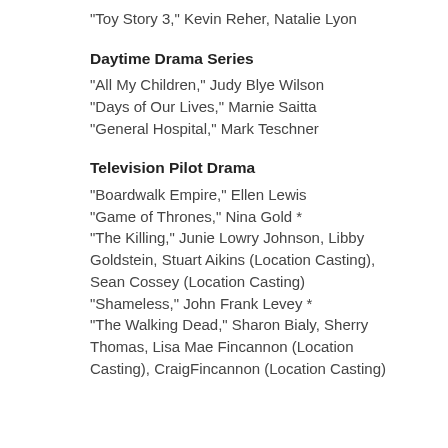“Toy Story 3,” Kevin Reher, Natalie Lyon
Daytime Drama Series
“All My Children,” Judy Blye Wilson
“Days of Our Lives,” Marnie Saitta
“General Hospital,” Mark Teschner
Television Pilot Drama
“Boardwalk Empire,” Ellen Lewis
“Game of Thrones,” Nina Gold *
“The Killing,” Junie Lowry Johnson, Libby Goldstein, Stuart Aikins (Location Casting), Sean Cossey (Location Casting)
“Shameless,” John Frank Levey *
“The Walking Dead,” Sharon Bialy, Sherry Thomas, Lisa Mae Fincannon (Location Casting), CraigFincannon (Location Casting)